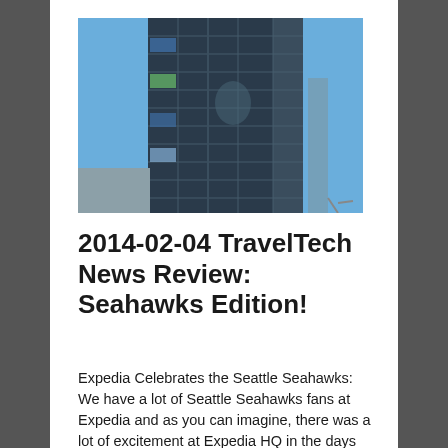[Figure (photo): Photograph of the Expedia HQ building, a glass-windowed skyscraper decorated with Seattle Seahawks banners/signage visible on the exterior, against a clear blue sky.]
2014-02-04 TravelTech News Review: Seahawks Edition!
Expedia Celebrates the Seattle Seahawks: We have a lot of Seattle Seahawks fans at Expedia and as you can imagine, there was a lot of excitement at Expedia HQ in the days before and after the Hawks' historic Superbowl victory. We made the local and